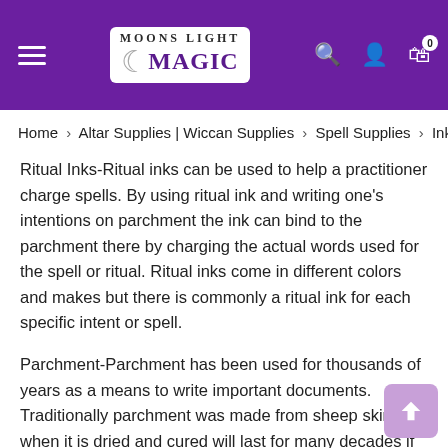Moons Light Magic — header with hamburger menu, logo, search, account, and cart icons
Home › Altar Supplies | Wiccan Supplies › Spell Supplies › Inks
Ritual Inks-Ritual inks can be used to help a practitioner charge spells. By using ritual ink and writing one's intentions on parchment the ink can bind to the parchment there by charging the actual words used for the spell or ritual. Ritual inks come in different colors and makes but there is commonly a ritual ink for each specific intent or spell.
Parchment-Parchment has been used for thousands of years as a means to write important documents. Traditionally parchment was made from sheep skin as when it is dried and cured will last for many decades if care for properly and not exposed to the elements. Parchment is also used in many hand made book of shadows as parchment absorbs and holds ink very well making